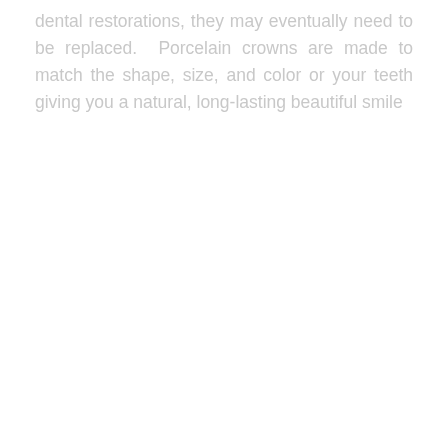dental restorations, they may eventually need to be replaced.  Porcelain crowns are made to match the shape, size, and color or your teeth giving you a natural, long-lasting beautiful smile